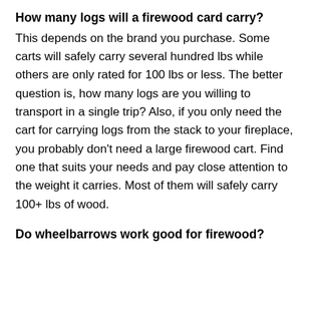How many logs will a firewood card carry?
This depends on the brand you purchase. Some carts will safely carry several hundred lbs while others are only rated for 100 lbs or less. The better question is, how many logs are you willing to transport in a single trip? Also, if you only need the cart for carrying logs from the stack to your fireplace, you probably don't need a large firewood cart. Find one that suits your needs and pay close attention to the weight it carries. Most of them will safely carry 100+ lbs of wood.
Do wheelbarrows work good for firewood?